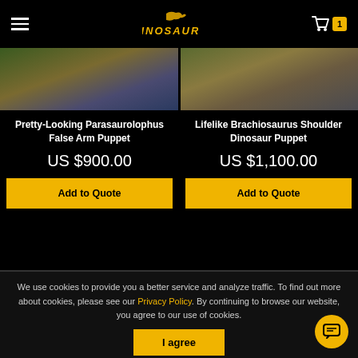DINOSAURS - navigation header with hamburger menu, logo, and cart (1 item)
[Figure (photo): Two product images side by side: left shows a Parasaurolophus False Arm Puppet being worn, right shows a Brachiosaurus Shoulder Dinosaur Puppet being worn.]
Pretty-Looking Parasaurolophus False Arm Puppet
US $900.00
Add to Quote
Lifelike Brachiosaurus Shoulder Dinosaur Puppet
US $1,100.00
Add to Quote
We use cookies to provide you a better service and analyze traffic. To find out more about cookies, please see our Privacy Policy. By continuing to browse our website, you agree to our use of cookies.
I agree